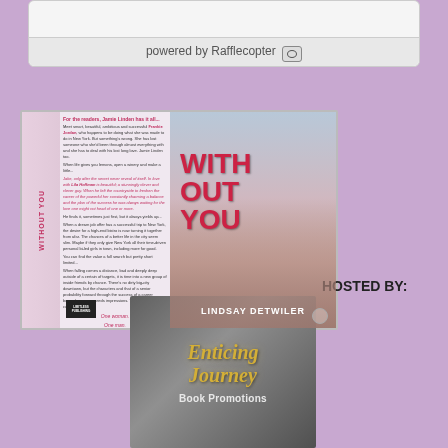[Figure (screenshot): Rafflecopter giveaway widget with footer showing 'powered by Rafflecopter' and a small icon]
[Figure (photo): Book cover for 'Without You' by Lindsay Detwiler, showing a couple embracing with a city backdrop, red title text, published by Limitless Publishing]
HOSTED BY:
[Figure (logo): Enticing Journey Book Promotions logo on a dark grey background with gold italic script text]